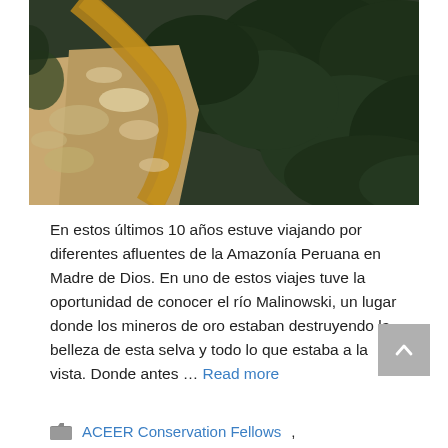[Figure (photo): Aerial view of a deforested and mined area along a river in the Peruvian Amazon. The river shows brown muddy water with eroded sandy banks and cleared land on the left, contrasted by dense dark green jungle on the right. Signs of gold mining operations are visible.]
En estos últimos 10 años estuve viajando por diferentes afluentes de la Amazonía Peruana en Madre de Dios. En uno de estos viajes tuve la oportunidad de conocer el río Malinowski, un lugar donde los mineros de oro estaban destruyendo la belleza de esta selva y todo lo que estaba a la vista. Donde antes … Read more
ACEER Conservation Fellows,